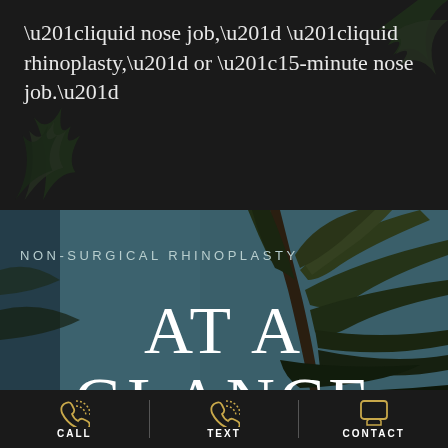“liquid nose job,” “liquid rhinoplasty,” or “15-minute nose job.”
[Figure (photo): Dark background with tropical palm tree silhouettes, used as decorative background for a medical/cosmetic procedure page]
NON-SURGICAL RHINOPLASTY
AT A GLANCE
CALL | TEXT | CONTACT